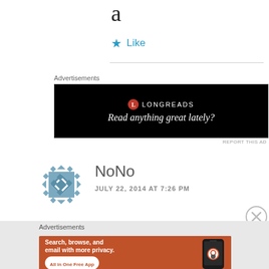a
★ Like
Advertisements
[Figure (other): Longreads advertisement banner on black background with logo and tagline 'Read anything great lately?']
REPORT THIS AD
[Figure (other): WordPress user avatar for NoNo — decorative geometric diamond pattern in blue-grey]
NoNo
JULY 22, 2014 AT 7:26 PM
Advertisements
[Figure (other): DuckDuckGo advertisement: 'Search, browse, and email with more privacy. All in One Free App' with phone image and DuckDuckGo branding on orange background]